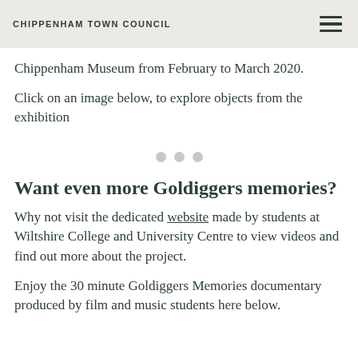CHIPPENHAM TOWN COUNCIL
Chippenham Museum from February to March 2020.
Click on an image below, to explore objects from the exhibition
[Figure (other): Carousel navigation dots (three grey circles)]
Want even more Goldiggers memories?
Why not visit the dedicated website made by students at Wiltshire College and University Centre to view videos and find out more about the project.
Enjoy the 30 minute Goldiggers Memories documentary produced by film and music students here below.